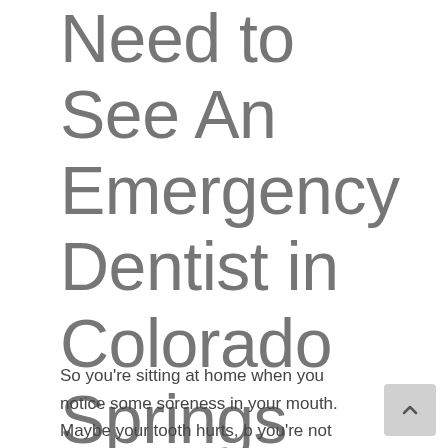Need to See An Emergency Dentist in Colorado Springs
So you're sitting at home when you notice some soreness in your mouth. Maybe your tooth hurts, but you're not sure if it's a serious problem or just a little annoyance. How do you tell if you have a true dental